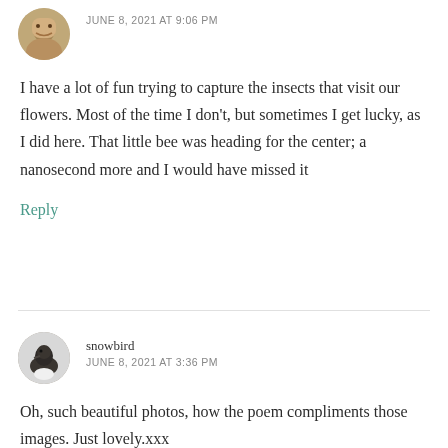[Figure (photo): Circular avatar photo of a person, partially visible, with natural outdoor background]
JUNE 8, 2021 AT 9:06 PM
I have a lot of fun trying to capture the insects that visit our flowers. Most of the time I don't, but sometimes I get lucky, as I did here. That little bee was heading for the center; a nanosecond more and I would have missed it
Reply
[Figure (photo): Circular avatar photo of a small dark bird (snowbird) on a white/snowy background]
snowbird
JUNE 8, 2021 AT 3:36 PM
Oh, such beautiful photos, how the poem compliments those images. Just lovely.xxx